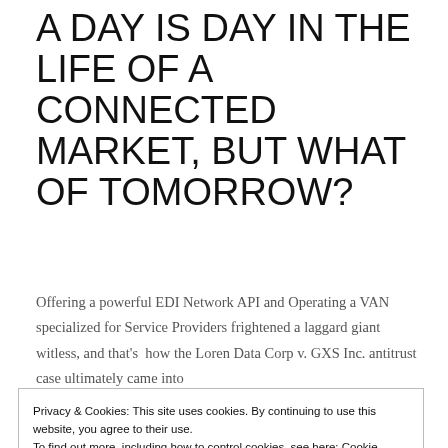A DAY IS DAY IN THE LIFE OF A CONNECTED MARKET, BUT WHAT OF TOMORROW?
Offering a powerful EDI Network API and Operating a VAN specialized for Service Providers frightened a laggard giant witless, and that’s  how the Loren Data Corp v. GXS Inc. antitrust case ultimately came into
Privacy & Cookies: This site uses cookies. By continuing to use this website, you agree to their use.
To find out more, including how to control cookies, see here: Cookie Policy